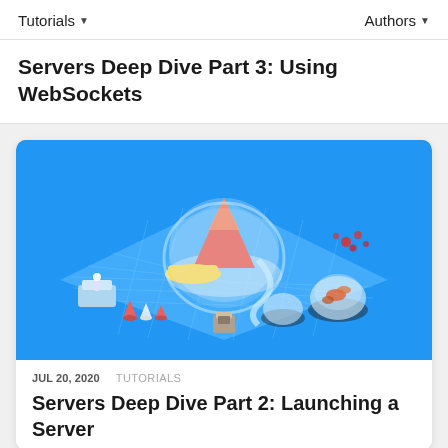Tutorials ▾    Authors ▾
Servers Deep Dive Part 3: Using WebSockets
[Figure (illustration): Isometric 3D illustration of server-related objects (volcano-like server dome, small figures, platforms, domes with fish) on a blue grid background]
JUL 20, 2020    TUTORIALS
Servers Deep Dive Part 2: Launching a Server